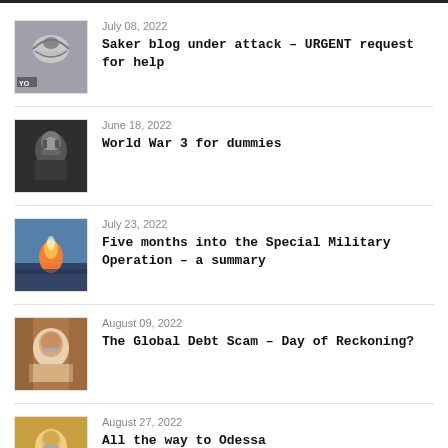July 08, 2022 — Saker blog under attack – URGENT request for help
June 18, 2022 — World War 3 for dummies
July 23, 2022 — Five months into the Special Military Operation – a summary
August 09, 2022 — The Global Debt Scam – Day of Reckoning?
August 27, 2022 — All the way to Odessa